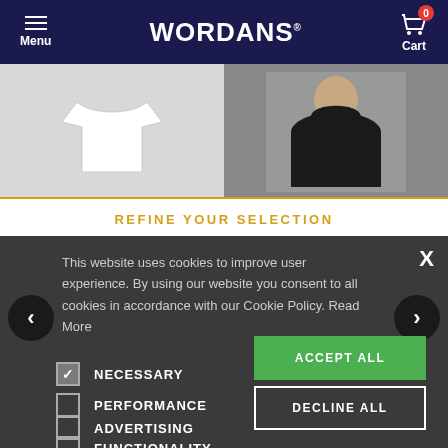Menu | WORDANS | Cart 0
[Figure (photo): Two product images: a white t-shirt on the left and a person wearing a black hoodie on the right]
REFINE YOUR SELECTION
This website uses cookies to improve user experience. By using our website you consent to all cookies in accordance with our Cookie Policy. Read More
NECESSARY (checked)
PERFORMANCE (unchecked)
ADVERTISING (unchecked)
FUNCTIONALITY (unchecked)
ACCEPT ALL
DECLINE ALL